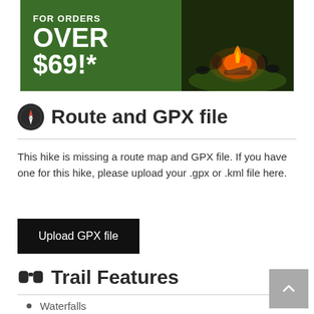[Figure (photo): Advertisement banner showing green section with text 'FOR ORDERS OVER $69!*' and a photo of people around a campfire at night]
Route and GPX file
This hike is missing a route map and GPX file. If you have one for this hike, please upload your .gpx or .kml file here.
Upload GPX file
Trail Features
Waterfalls